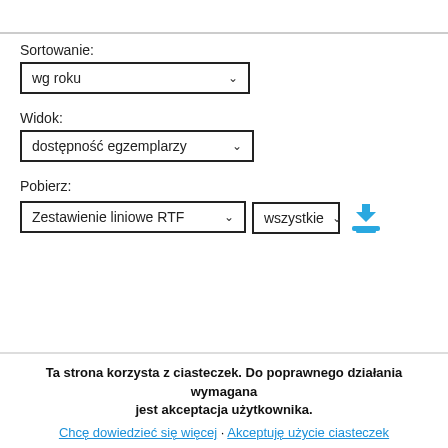Sortowanie:
[Figure (screenshot): Dropdown select box showing 'wg roku' with chevron]
Widok:
[Figure (screenshot): Dropdown select box showing 'dostępność egzemplarzy' with chevron]
Pobierz:
[Figure (screenshot): Dropdown select boxes: 'Zestawienie liniowe RTF' and 'wszystkie' with download button]
[Figure (screenshot): Polish flag and UK flag icons]
Ta strona korzysta z ciasteczek. Do poprawnego działania wymagana jest akceptacja użytkownika.
Chcę dowiedzieć się więcej · Akceptuję użycie ciasteczek